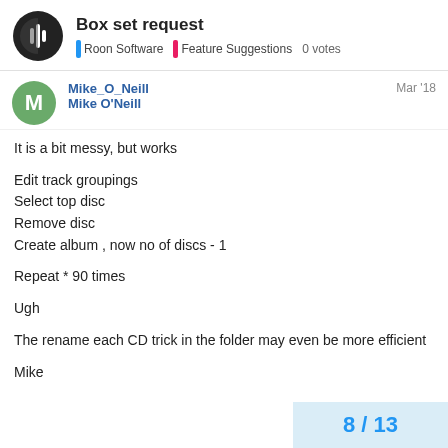Box set request — Roon Software | Feature Suggestions | 0 votes
Mike_O_Neill
Mike O'Neill
Mar '18
It is a bit messy, but works

Edit track groupings
Select top disc
Remove disc
Create album , now no of discs - 1

Repeat * 90 times

Ugh

The rename each CD trick in the folder may even be more efficient

Mike
8 / 13